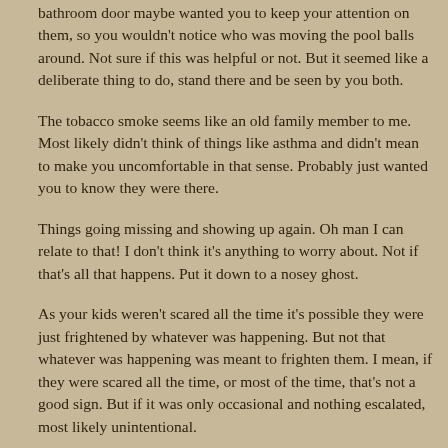bathroom door maybe wanted you to keep your attention on them, so you wouldn't notice who was moving the pool balls around. Not sure if this was helpful or not. But it seemed like a deliberate thing to do, stand there and be seen by you both.
The tobacco smoke seems like an old family member to me. Most likely didn't think of things like asthma and didn't mean to make you uncomfortable in that sense. Probably just wanted you to know they were there.
Things going missing and showing up again. Oh man I can relate to that! I don't think it's anything to worry about. Not if that's all that happens. Put it down to a nosey ghost.
As your kids weren't scared all the time it's possible they were just frightened by whatever was happening. But not that whatever was happening was meant to frighten them. I mean, if they were scared all the time, or most of the time, that's not a good sign. But if it was only occasional and nothing escalated, most likely unintentional.
On the night you heard footsteps up to the bathroom, was this a time of night you usually got up? If not, whoever it was may